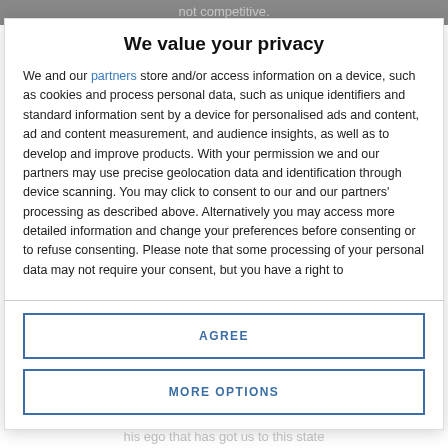not competitive.
We value your privacy
We and our partners store and/or access information on a device, such as cookies and process personal data, such as unique identifiers and standard information sent by a device for personalised ads and content, ad and content measurement, and audience insights, as well as to develop and improve products. With your permission we and our partners may use precise geolocation data and identification through device scanning. You may click to consent to our and our partners' processing as described above. Alternatively you may access more detailed information and change your preferences before consenting or to refuse consenting. Please note that some processing of your personal data may not require your consent, but you have a right to
AGREE
MORE OPTIONS
his ego that has got us to this state